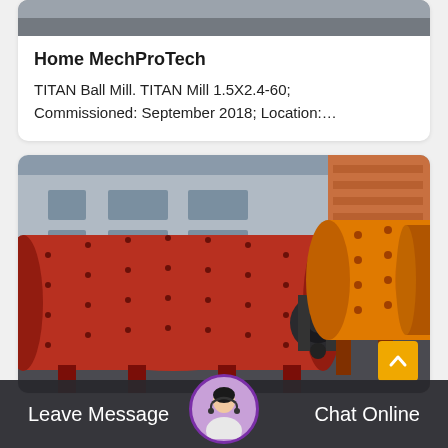[Figure (photo): Top partial image — industrial/outdoor scene, cropped at top]
Home MechProTech
TITAN Ball Mill. TITAN Mill 1.5X2.4-60; Commissioned: September 2018; Location:…
[Figure (photo): Industrial ball mills outside a factory building — a large red ball mill on the left and a yellow/orange ball mill on the right, with a black motor/coupling between them, set against a grey industrial building backdrop.]
Leave Message   Chat Online